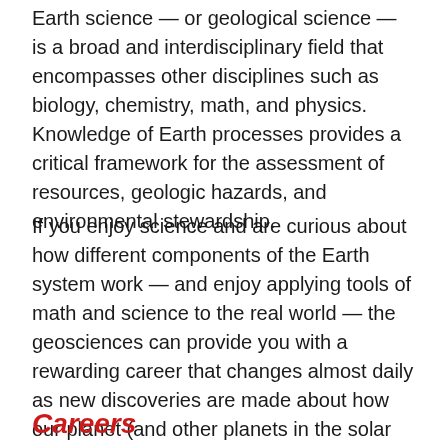Earth science — or geological science — is a broad and interdisciplinary field that encompasses other disciplines such as biology, chemistry, math, and physics. Knowledge of Earth processes provides a critical framework for the assessment of resources, geologic hazards, and environmental stewardship.
If you enjoy science and are curious about how different components of the Earth system work — and enjoy applying tools of math and science to the real world — the geosciences can provide you with a rewarding career that changes almost daily as new discoveries are made about how our planet (and other planets in the solar system) works.
Careers